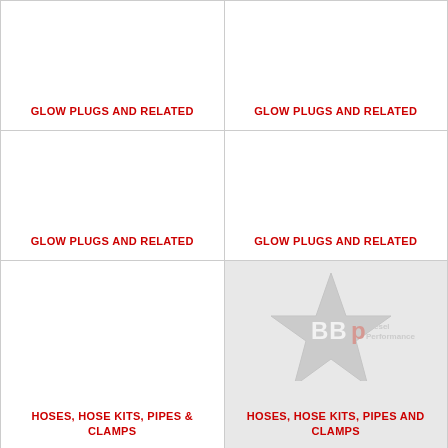GLOW PLUGS AND RELATED
GLOW PLUGS AND RELATED
GLOW PLUGS AND RELATED
GLOW PLUGS AND RELATED
HOSES, HOSE KITS, PIPES & CLAMPS
[Figure (logo): BBP Diesel Performance logo with NO IMAGE AVAILABLE text]
HOSES, HOSE KITS, PIPES AND CLAMPS
[Figure (logo): BBP Diesel Performance logo partial view]
[Figure (logo): BBP Diesel Performance logo partial view]